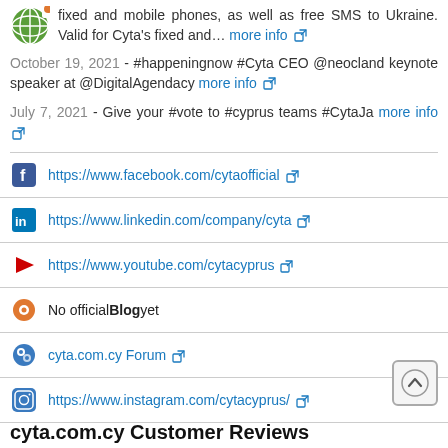fixed and mobile phones, as well as free SMS to Ukraine. Valid for Cyta's fixed and… more info
October 19, 2021 - #happeningnow #Cyta CEO @neocland keynote speaker at @DigitalAgendacy more info
July 7, 2021 - Give your #vote to #cyprus teams #CytaJa more info
https://www.facebook.com/cytaofficial
https://www.linkedin.com/company/cyta
https://www.youtube.com/cytacyprus
No official Blog yet
cyta.com.cy Forum
https://www.instagram.com/cytacyprus/
cyta.com.cy Customer Reviews